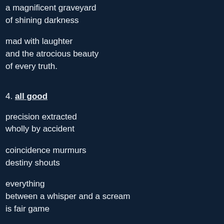a magnificent graveyard
of shining darkness
mad with laughter
and the atrocious beauty
of every truth.
4. all good
precision extracted
wholly by accident
coincidence murmurs
destiny shouts
everything
between a whisper and a scream
is fair game
this is what has been waiting
to be cracked open and laid bare